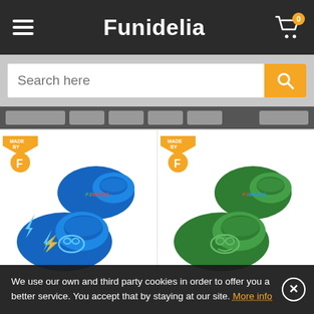Funidelia
[Figure (screenshot): Search bar with 'Search here' placeholder text and orange search button]
[Figure (photo): Two children's PJ Masks slippers: one blue pair with Catboy design on the left, and one green pair with Gekko design on the right. Both have 'Made by F' badge in top left corner.]
We use our own and third party cookies in order to offer you a better service. You accept that by staying at our site. More info